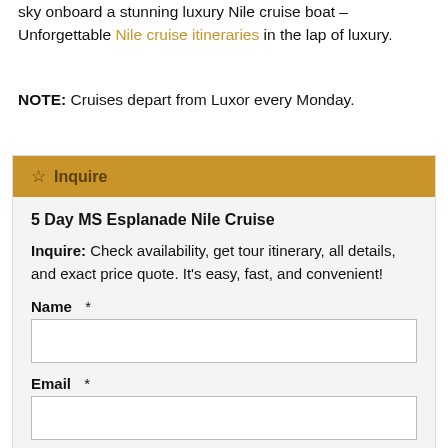sky onboard a stunning luxury Nile cruise boat – Unforgettable Nile cruise itineraries in the lap of luxury.
NOTE: Cruises depart from Luxor every Monday.
☆ Inquire
5 Day MS Esplanade Nile Cruise
Inquire: Check availability, get tour itinerary, all details, and exact price quote. It's easy, fast, and convenient!
Name *
Email *